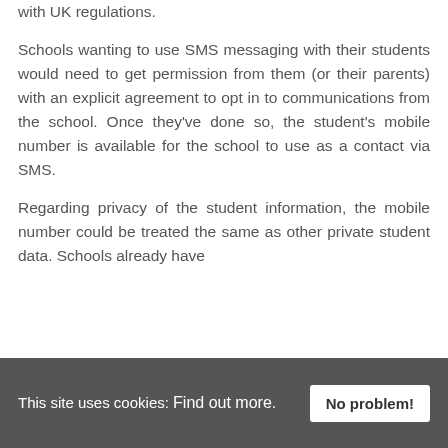with UK regulations.
Schools wanting to use SMS messaging with their students would need to get permission from them (or their parents) with an explicit agreement to opt in to communications from the school. Once they've done so, the student's mobile number is available for the school to use as a contact via SMS.
Regarding privacy of the student information, the mobile number could be treated the same as other private student data. Schools already have
This site uses cookies: Find out more.